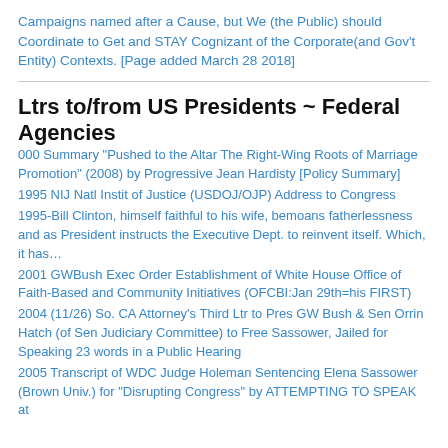Campaigns named after a Cause, but We (the Public) should Coordinate to Get and STAY Cognizant of the Corporate(and Gov't Entity) Contexts. [Page added March 28 2018]
Ltrs to/from US Presidents ~ Federal Agencies
000 Summary "Pushed to the Altar The Right-Wing Roots of Marriage Promotion" (2008) by Progressive Jean Hardisty [Policy Summary]
1995 NIJ Natl Instit of Justice (USDOJ/OJP) Address to Congress
1995-Bill Clinton, himself faithful to his wife, bemoans fatherlessness and as President instructs the Executive Dept. to reinvent itself. Which, it has…
2001 GWBush Exec Order Establishment of White House Office of Faith-Based and Community Initiatives (OFCBI:Jan 29th=his FIRST)
2004 (11/26) So. CA Attorney's Third Ltr to Pres GW Bush & Sen Orrin Hatch (of Sen Judiciary Committee) to Free Sassower, Jailed for Speaking 23 words in a Public Hearing
2005 Transcript of WDC Judge Holeman Sentencing Elena Sassower (Brown Univ.) for "Disrupting Congress" by ATTEMPTING TO SPEAK at